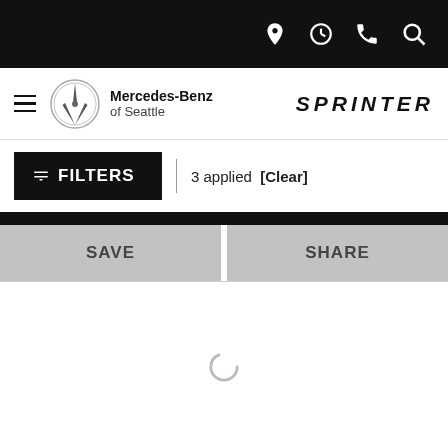[Figure (screenshot): Top navigation bar with black background showing location, clock, phone, and search icons in white]
[Figure (logo): Mercedes-Benz of Seattle logo with three-pointed star emblem and Sprinter brand name]
FILTERS | 3 applied [Clear]
SAVE
SHARE
[Figure (other): Loading spinner icon in the content area]